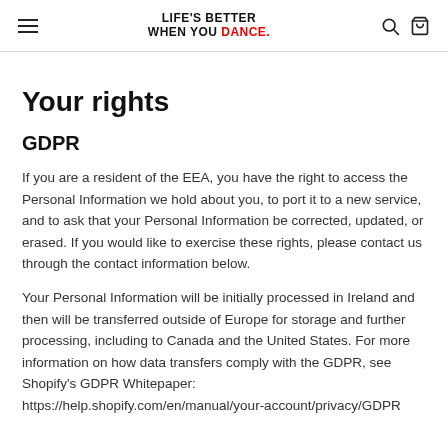LIFE'S BETTER WHEN YOU DANCE.
Your rights
GDPR
If you are a resident of the EEA, you have the right to access the Personal Information we hold about you, to port it to a new service, and to ask that your Personal Information be corrected, updated, or erased. If you would like to exercise these rights, please contact us through the contact information below.
Your Personal Information will be initially processed in Ireland and then will be transferred outside of Europe for storage and further processing, including to Canada and the United States. For more information on how data transfers comply with the GDPR, see Shopify's GDPR Whitepaper: https://help.shopify.com/en/manual/your-account/privacy/GDPR